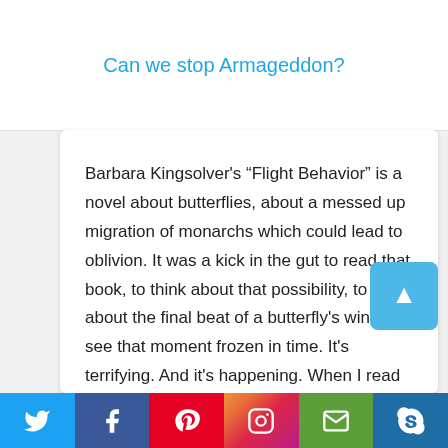Can we stop Armageddon?
Barbara Kingsolver’s “Flight Behavior” is a novel about butterflies, about a messed up migration of monarchs which could lead to oblivion. It was a kick in the gut to read that book, to think about that possibility, to think about the final beat of a butterfly’s wing, to see that moment frozen in time. It’s terrifying. And it’s happening. When I read that the monarch butterfly migration to Mexico is